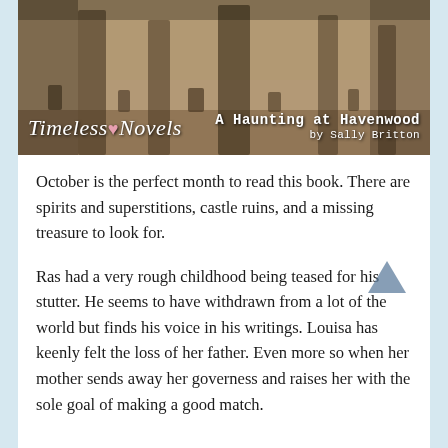[Figure (photo): Book cover image for 'A Haunting at Havenwood' by Sally Britton, showing a sepia-toned graveyard or castle ruins scene. Overlaid text reads 'Timeless Novels' on the left and 'A Haunting at Havenwood by Sally Britton' on the right.]
October is the perfect month to read this book. There are spirits and superstitions, castle ruins, and a missing treasure to look for.
Ras had a very rough childhood being teased for his stutter. He seems to have withdrawn from a lot of the world but finds his voice in his writings. Louisa has keenly felt the loss of her father. Even more so when her mother sends away her governess and raises her with the sole goal of making a good match.